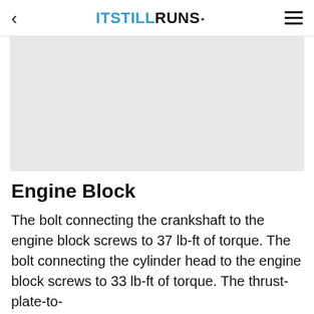< ITSTILLRUNS. ≡
[Figure (photo): Gray placeholder image for engine block article]
Engine Block
The bolt connecting the crankshaft to the engine block screws to 37 lb-ft of torque. The bolt connecting the cylinder head to the engine block screws to 33 lb-ft of torque. The thrust-plate-to-